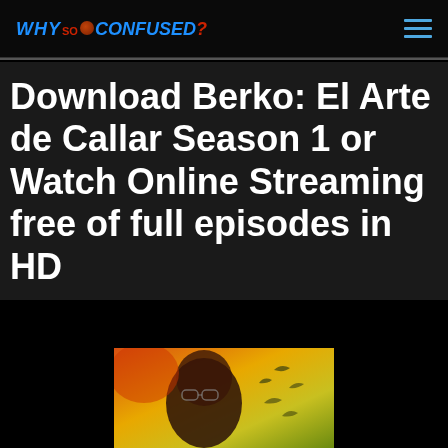WHY so CONFUSED?
Download Berko: El Arte de Callar Season 1 or Watch Online Streaming free of full episodes in HD
[Figure (photo): A colorful image showing a person wearing glasses against a warm yellow/orange/red abstract background with silhouettes of birds]